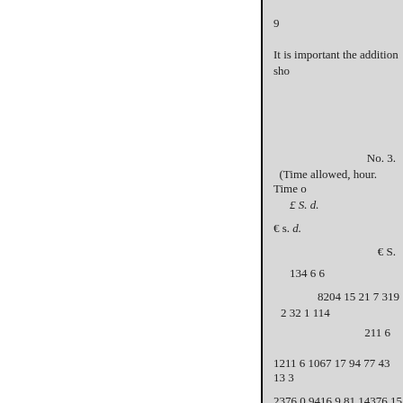9
It is important the addition sho
No. 3.
(Time allowed, hour. Time o
£ S. d.
€ s. d.
€ S.
134 6 6
8204 15 21 7 319
2 32 1 114
211 6
1211 6 1067 17 94 77 43 13 3
2376 0 9416 9 81 14376 15 10